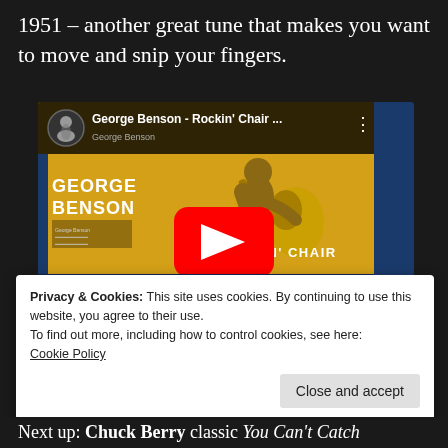1951 – another great tune that makes you want to move and snip your fingers.
[Figure (screenshot): YouTube video embed showing George Benson - Rockin' Chair music video thumbnail with golden background, artist playing guitar, blue stripe, Walking to New Orleans album art, and streaming service badges for Spotify, iTunes, Amazon, and Deezer.]
Privacy & Cookies: This site uses cookies. By continuing to use this website, you agree to their use.
To find out more, including how to control cookies, see here:
Cookie Policy
Close and accept
Next up: Chuck Berry classic You Can't Catch